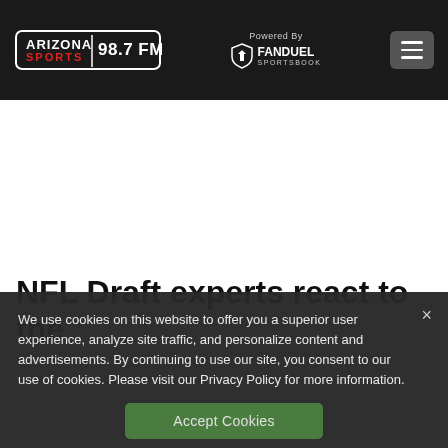Arizona Sports 98.7 FM — Powered By FanDuel Sportsbook
NFL Draft experts react to the
We use cookies on this website to offer you a superior user experience, analyze site traffic, and personalize content and advertisements. By continuing to use our site, you consent to our use of cookies. Please visit our Privacy Policy for more information.
Accept Cookies